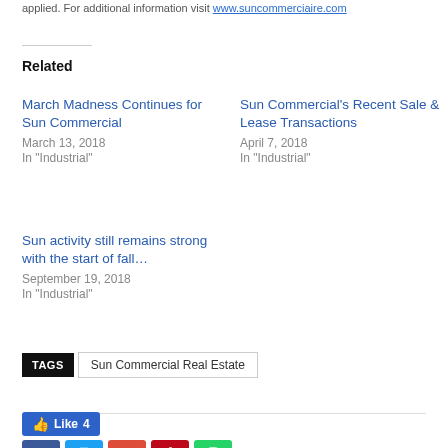applied. For additional information visit www.suncommerciaire.com
Related
March Madness Continues for Sun Commercial
March 13, 2018
In "Industrial"
Sun Commercial's Recent Sale & Lease Transactions
April 7, 2018
In "Industrial"
Sun activity still remains strong with the start of fall…
September 19, 2018
In "Industrial"
TAGS  Sun Commercial Real Estate
[Figure (other): Like 4 button and social share icons: Facebook, Twitter, Google+, Pinterest, WhatsApp]